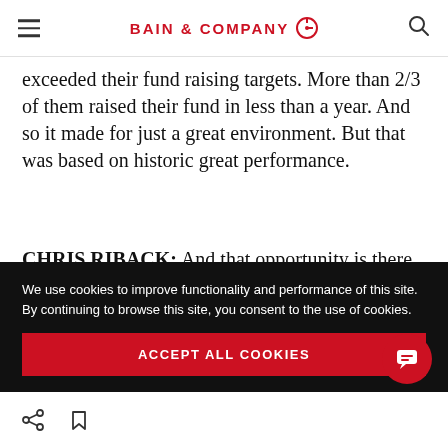BAIN & COMPANY
exceeded their fund raising targets. More than 2/3 of them raised their fund in less than a year. And so it made for just a great environment. But that was based on historic great performance.
CHRIS RIBACK: And that opportunity is there not just for the megafunds but there's still plenty of...
We use cookies to improve functionality and performance of this site. By continuing to browse this site, you consent to the use of cookies.
ACCEPT ALL COOKIES